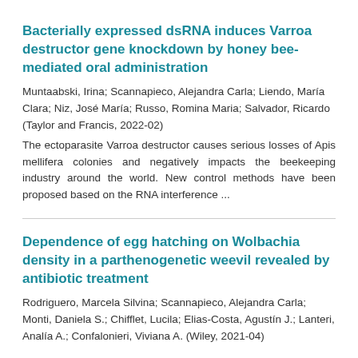Bacterially expressed dsRNA induces Varroa destructor gene knockdown by honey bee-mediated oral administration
Muntaabski, Irina; Scannapieco, Alejandra Carla; Liendo, María Clara; Niz, José María; Russo, Romina Maria; Salvador, Ricardo (Taylor and Francis, 2022-02)
The ectoparasite Varroa destructor causes serious losses of Apis mellifera colonies and negatively impacts the beekeeping industry around the world. New control methods have been proposed based on the RNA interference ...
Dependence of egg hatching on Wolbachia density in a parthenogenetic weevil revealed by antibiotic treatment
Rodriguero, Marcela Silvina; Scannapieco, Alejandra Carla; Monti, Daniela S.; Chifflet, Lucila; Elias-Costa, Agustín J.; Lanteri, Analía A.; Confalonieri, Viviana A. (Wiley, 2021-04)